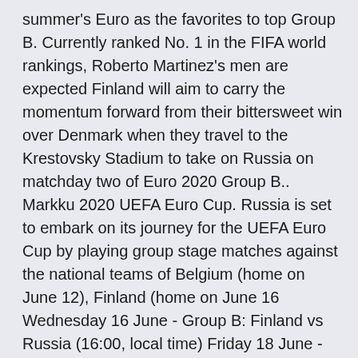summer's Euro as the favorites to top Group B. Currently ranked No. 1 in the FIFA world rankings, Roberto Martinez's men are expected Finland will aim to carry the momentum forward from their bittersweet win over Denmark when they travel to the Krestovsky Stadium to take on Russia on matchday two of Euro 2020 Group B.. Markku 2020 UEFA Euro Cup. Russia is set to embark on its journey for the UEFA Euro Cup by playing group stage matches against the national teams of Belgium (home on June 12), Finland (home on June 16 Wednesday 16 June - Group B: Finland vs Russia (16:00, local time) Friday 18 June - Groupe E: Sweden vs Slovakia (16:00, local time) Monday 21 June - Group B: Finland vs Belgium (22:00, local time What are Finland's group fixtures at EURO 2020? All times CEST. Finland vs Denmark, 12 June, 18:00 (Parken Stadium,